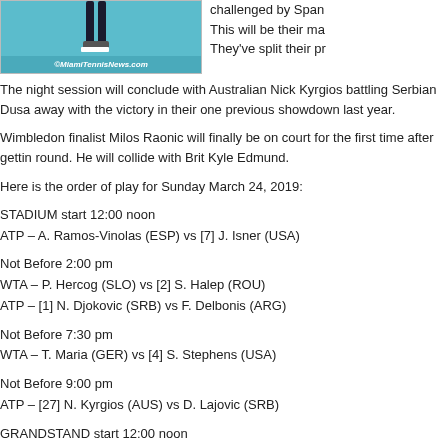[Figure (photo): Tennis player legs on court with ©MiamiTennisNews.com watermark on teal background]
challenged by Span This will be their ma They've split their pr
The night session will conclude with Australian Nick Kyrgios battling Serbian Dusa away with the victory in their one previous showdown last year.
Wimbledon finalist Milos Raonic will finally be on court for the first time after gettin round. He will collide with Brit Kyle Edmund.
Here is the order of play for Sunday March 24, 2019:
STADIUM start 12:00 noon
ATP – A. Ramos-Vinolas (ESP) vs [7] J. Isner (USA)
Not Before 2:00 pm
WTA – P. Hercog (SLO) vs [2] S. Halep (ROU)
ATP – [1] N. Djokovic (SRB) vs F. Delbonis (ARG)
Not Before 7:30 pm
WTA – T. Maria (GER) vs [4] S. Stephens (USA)
Not Before 9:00 pm
ATP – [27] N. Kyrgios (AUS) vs D. Lajovic (SRB)
GRANDSTAND start 12:00 noon
WTA – Y. Wang (CHN) vs [25] D. Collins (USA)